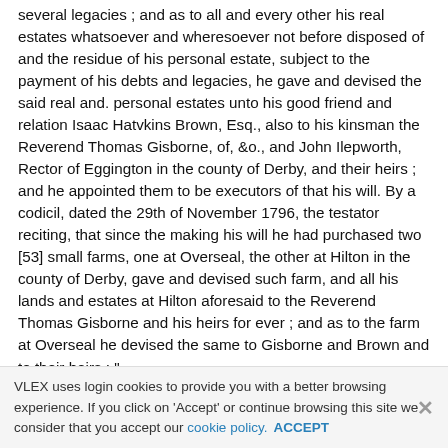several legacies ; and as to all and every other his real estates whatsoever and wheresoever not before disposed of and the residue of his personal estate, subject to the payment of his debts and legacies, he gave and devised the said real and. personal estates unto his good friend and relation Isaac Hatvkins Brown, Esq., also to his kinsman the Reverend Thomas Gisborne, of, &o., and John Ilepworth, Rector of Eggington in the county of Derby, and their heirs ; and he appointed them to be executors of that his will. By a codicil, dated the 29th of November 1796, the testator reciting, that since the making his will he had purchased two [53] small farms, one at Overseal, the other at Hilton in the county of Derby, gave and devised such farm, and all his lands and estates at Hilton aforesaid to the Reverend Thomas Gisborne and his heirs for ever ; and as to the farm at Overseal he devised the same to Gisborne and Brown and to their heirs ; "
VLEX uses login cookies to provide you with a better browsing experience. If you click on 'Accept' or continue browsing this site we consider that you accept our cookie policy. ACCEPT